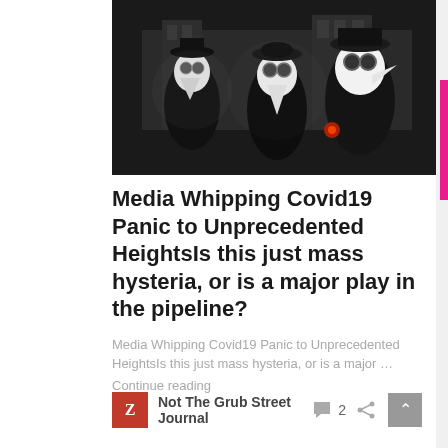[Figure (photo): Three people in plague doctor costumes with long beaked white masks and black robes/hats, photographed at night in what appears to be Venice, with an ornate building in the background]
Media Whipping Covid19 Panic to Unprecedented HeightsIs this just mass hysteria, or is a major play in the pipeline?
Media Whipping Covid19 Panic to Unprecedented HeightsIs this just mass hysteria, or is a major …
Continue reading
Not The Grub Street Journal
2